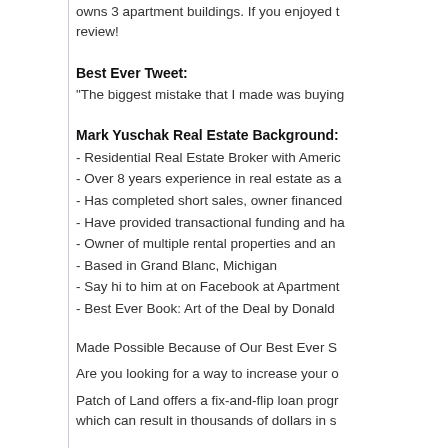owns 3 apartment buildings. If you enjoyed the review!
Best Ever Tweet:
“The biggest mistake that I made was buying
Mark Yuschak Real Estate Background:
- Residential Real Estate Broker with Americ
- Over 8 years experience in real estate as a
- Has completed short sales, owner financed
- Have provided transactional funding and ha
- Owner of multiple rental properties and an
- Based in Grand Blanc, Michigan
- Say hi to him at on Facebook at Apartment
- Best Ever Book: Art of the Deal by Donald
Made Possible Because of Our Best Ever S
Are you looking for a way to increase your o
Patch of Land offers a fix-and-flip loan progr which can result in thousands of dollars in s